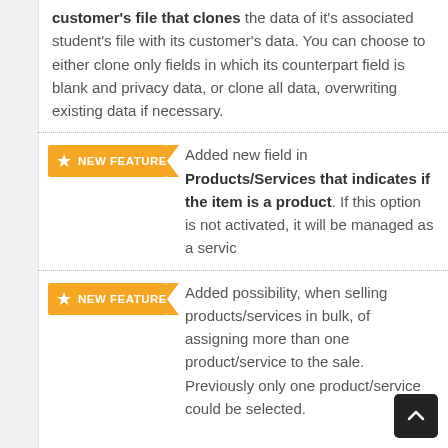customer's file that clones the data of it's associated student's file with its customer's data. You can choose to either clone only fields in which its counterpart field is blank and privacy data, or clone all data, overwriting existing data if necessary.
NEW FEATURE — Added new field in Products/Services that indicates if the item is a product. If this option is not activated, it will be managed as a servic
NEW FEATURE — Added possibility, when selling products/services in bulk, of assigning more than one product/service to the sale. Previously only one product/service could be selected.